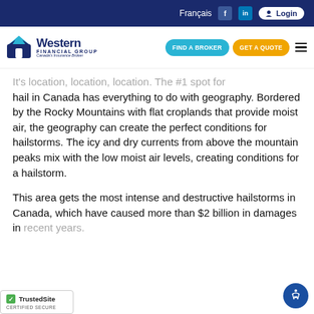Français  Login
[Figure (logo): Western Financial Group - Canada's Insurance Broker logo with nav buttons: FIND A BROKER, GET A QUOTE]
It's location, location, location. The #1 spot for hail in Canada has everything to do with geography. Bordered by the Rocky Mountains with flat croplands that provide moist air, the geography can create the perfect conditions for hailstorms. The icy and dry currents from above the mountain peaks mix with the low moist air levels, creating conditions for a hailstorm.
This area gets the most intense and destructive hailstorms in Canada, which have caused more than $2 billion in damages in recent years.